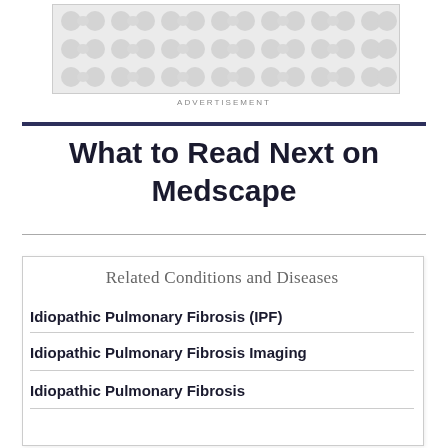[Figure (other): Advertisement banner with decorative pattern of interconnected circles in light gray on gray background]
ADVERTISEMENT
What to Read Next on Medscape
Related Conditions and Diseases
Idiopathic Pulmonary Fibrosis (IPF)
Idiopathic Pulmonary Fibrosis Imaging
Idiopathic Pulmonary Fibrosis